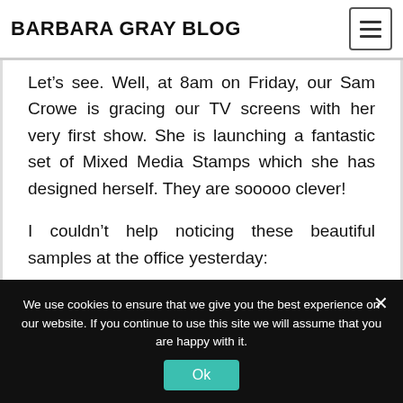BARBARA GRAY BLOG
Let’s see. Well, at 8am on Friday, our Sam Crowe is gracing our TV screens with her very first show. She is launching a fantastic set of Mixed Media Stamps which she has designed herself. They are sooooo clever!
I couldn’t help noticing these beautiful samples at the office yesterday:
We use cookies to ensure that we give you the best experience on our website. If you continue to use this site we will assume that you are happy with it.